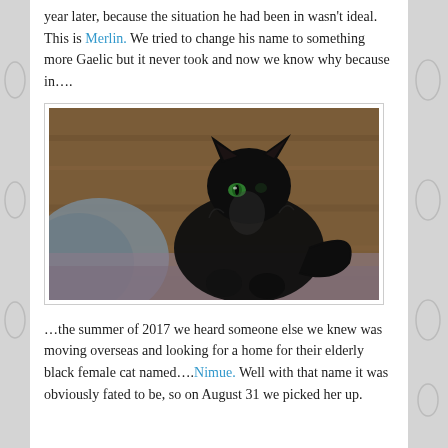year later, because the situation he had been in wasn't ideal. This is Merlin. We tried to change his name to something more Gaelic but it never took and now we know why because in….
[Figure (photo): A black cat with green eyes sitting upright on what appears to be a bed or cushion, with wooden paneling in the background.]
…the summer of 2017 we heard someone else we knew was moving overseas and looking for a home for their elderly black female cat named….Nimue.  Well with that name  it was obviously fated to be, so on August 31 we picked her up.